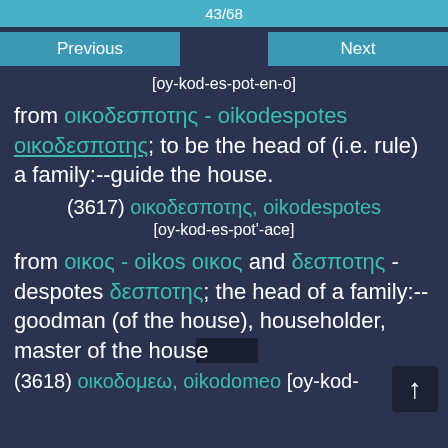43/68
Previous    Next
[oy-kod-es-pot-en-o]
from οικοδεσποτης - oikodespotes οικοδεσποτης; to be the head of (i.e. rule) a family:--guide the house.
(3617) οικοδεσποτης, oikodespotes
[oy-kod-es-pot'-ace]
from οικος - oikos οικος and δεσποτης - despotes δεσποτης; the head of a family:--goodman (of the house), householder, master of the house
(3618) οικοδομεω, oikodomeo [oy-kod-